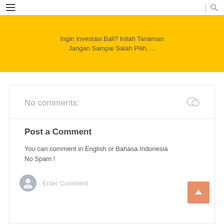≡  | 🔍
Ingin Investasi Bali? Inilah Tanaman Jangan Sampai Salah Pilih, ...
No comments:
Post a Comment
You can comment in English or Bahasa Indonesia
No Spam !
Enter Comment